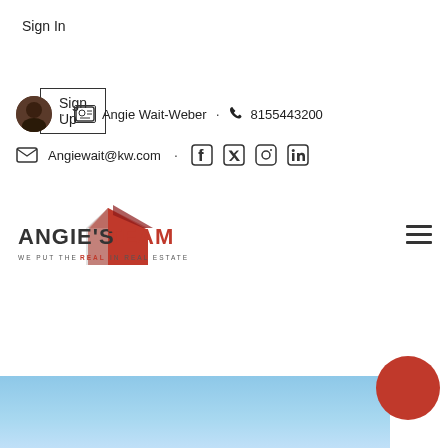Sign In
Sign Up
• Angie Wait-Weber • 8155443200
Angiewait@kw.com
[Figure (logo): Angie's Team real estate logo with red house shape and text 'WE PUT THE REAL IN REAL ESTATE']
[Figure (photo): Blue sky photo cropped at bottom of page with a red circle button overlay]